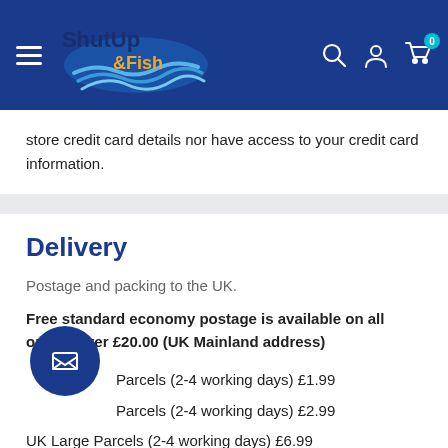[Figure (logo): Shut Up & Fish logo with blue wave design on dark blue header bar with hamburger menu, search, user, and cart icons]
store credit card details nor have access to your credit card information.
Delivery
Postage and packing to the UK.
Free standard economy postage is available on all orders over £20.00 (UK Mainland address)
UK... Parcels  (2-4 working days) £1.99
... Parcels  (2-4 working days) £2.99
UK Large Parcels (2-4 working days) £6.99